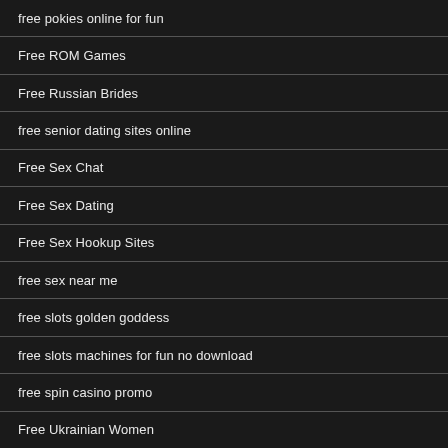free pokies online for fun
Free ROM Games
Free Russian Brides
free senior dating sites online
Free Sex Chat
Free Sex Dating
Free Sex Hookup Sites
free sex near me
free slots golden goddess
free slots machines for fun no download
free spin casino promo
Free Ukrainian Women